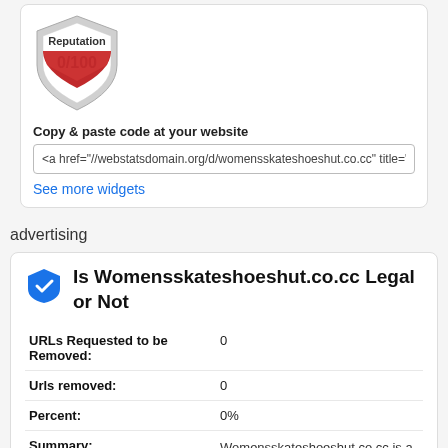[Figure (other): Shield badge showing Reputation 0/100 with red/silver design]
Copy & paste code at your website
<a href="//webstatsdomain.org/d/womensskateshoeshut.co.cc" title="Wome...
See more widgets
advertising
Is Womensskateshoeshut.co.cc Legal or Not
| URLs Requested to be Removed: | 0 |
| Urls removed: | 0 |
| Percent: | 0% |
| Summary: | Womensskateshoeshut.co.cc is a legal, because it is not contained in the list of sites... |